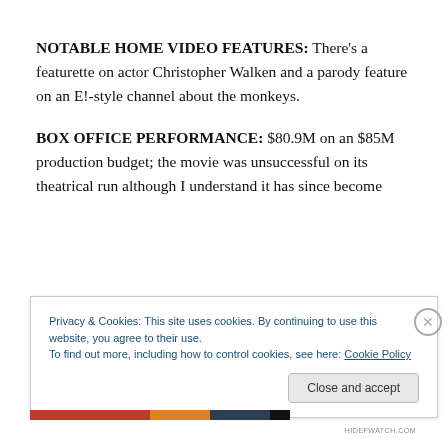NOTABLE HOME VIDEO FEATURES: There's a featurette on actor Christopher Walken and a parody feature on an E!-style channel about the monkeys.
BOX OFFICE PERFORMANCE: $80.9M on an $85M production budget; the movie was unsuccessful on its theatrical run although I understand it has since become
Privacy & Cookies: This site uses cookies. By continuing to use this website, you agree to their use.
To find out more, including how to control cookies, see here: Cookie Policy